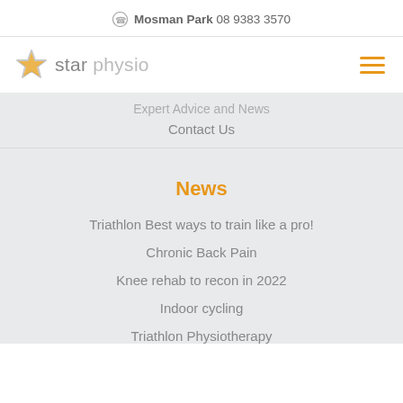Mosman Park 08 9383 3570
[Figure (logo): Star Physio logo with orange star icon and grey text]
Expert Advice and News
Contact Us
News
Triathlon Best ways to train like a pro!
Chronic Back Pain
Knee rehab to recon in 2022
Indoor cycling
Triathlon Physiotherapy